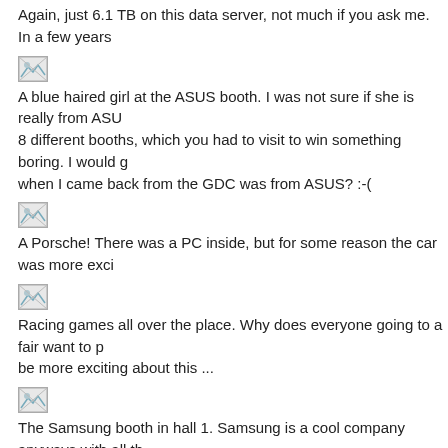Again, just 6.1 TB on this data server, not much if you ask me. In a few years
[Figure (photo): Small broken/placeholder image icon]
A blue haired girl at the ASUS booth. I was not sure if she is really from ASU 8 different booths, which you had to visit to win something boring. I would g when I came back from the GDC was from ASUS? :-(
[Figure (photo): Small broken/placeholder image icon]
A Porsche! There was a PC inside, but for some reason the car was more exci
[Figure (photo): Small broken/placeholder image icon]
Racing games all over the place. Why does everyone going to a fair want to p be more exciting about this ...
[Figure (photo): Small broken/placeholder image icon]
The Samsung booth in hall 1. Samsung is a cool company anyways with all th booth in hall 1 were just focused on business and did not even want to be asko
[Figure (photo): Small broken/placeholder image icon]
A new laptop, which got the new Nvidia GeForce 8000 Go card in it. Coming